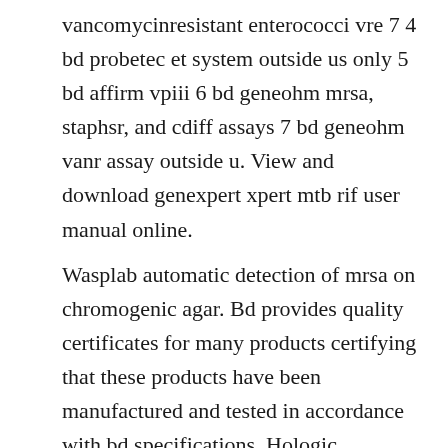vancomycinresistant enterococci vre 7 4 bd probetec et system outside us only 5 bd affirm vpiii 6 bd geneohm mrsa, staphsr, and cdiff assays 7 bd geneohm vanr assay outside u. View and download genexpert xpert mtb rif user manual online.
Wasplab automatic detection of mrsa on chromogenic agar. Bd provides quality certificates for many products certifying that these products have been manufactured and tested in accordance with bd specifications. Hologic technology and instruments are